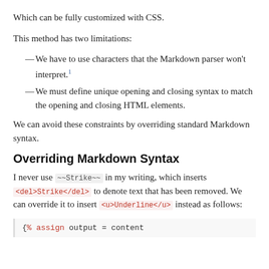Which can be fully customized with CSS.
This method has two limitations:
—We have to use characters that the Markdown parser won't interpret.¹
—We must define unique opening and closing syntax to match the opening and closing HTML elements.
We can avoid these constraints by overriding standard Markdown syntax.
Overriding Markdown Syntax
I never use ~~Strike~~ in my writing, which inserts <del>Strike</del> to denote text that has been removed. We can override it to insert <u>Underline</u> instead as follows:
{% assign output = content